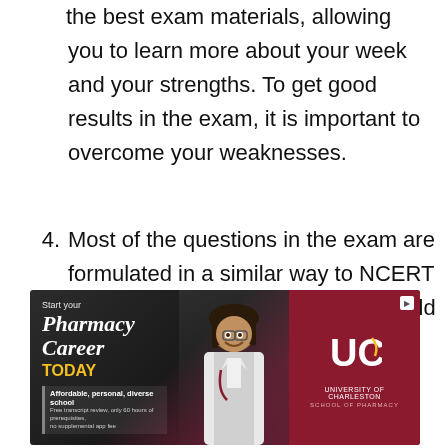the best exam materials, allowing you to learn more about your week and your strengths. To get good results in the exam, it is important to overcome your weaknesses.
4. Most of the questions in the exam are formulated in a similar way to NCERT textbooks. Therefore, students should review the solutions in each chapter in order to better understand the topic.
5. It is free of cost.
[Figure (illustration): Advertisement banner for University of Charleston School of Pharmacy showing a smiling man with dreadlocks in a white coat. Text reads: Start your Pharmacy Career TODAY. Affordable, personal, diverse school. Free transcript review, only 60 hours of prerequisites, no supplemental app fee. University of Charleston School of Pharmacy logo.]